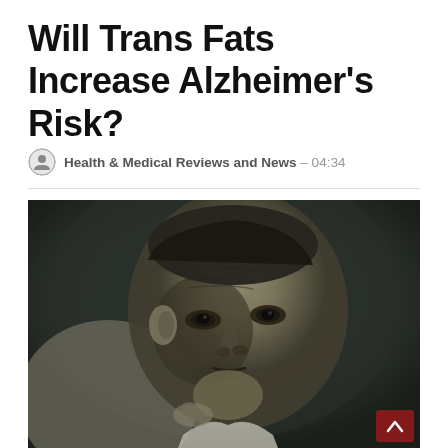Will Trans Fats Increase Alzheimer's Risk?
Health & Medical Reviews and News  –  04:34
[Figure (photo): Close-up black and white photograph of an elderly person's face showing deep wrinkles and a weary expression, dark background]